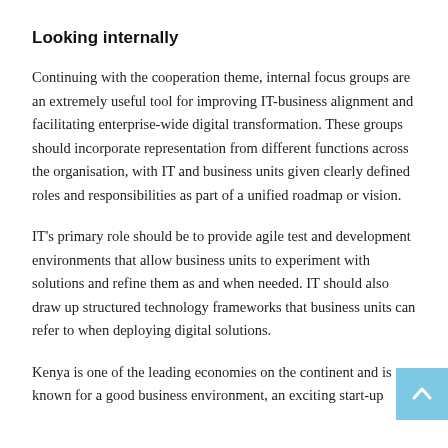Looking internally
Continuing with the cooperation theme, internal focus groups are an extremely useful tool for improving IT-business alignment and facilitating enterprise-wide digital transformation. These groups should incorporate representation from different functions across the organisation, with IT and business units given clearly defined roles and responsibilities as part of a unified roadmap or vision.
IT's primary role should be to provide agile test and development environments that allow business units to experiment with solutions and refine them as and when needed. IT should also draw up structured technology frameworks that business units can refer to when deploying digital solutions.
Kenya is one of the leading economies on the continent and is known for a good business environment, an exciting start-up